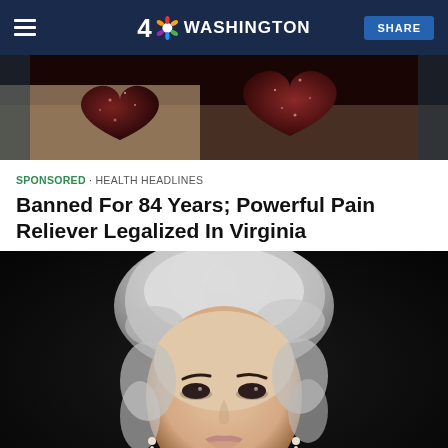4 NBC WASHINGTON  SHARE
[Figure (photo): Close-up photo of red/maroon glittery heart-shaped objects held in a hand, against a teal background]
SPONSORED · HEALTH HEADLINES
Banned For 84 Years; Powerful Pain Reliever Legalized In Virginia
[Figure (photo): Portrait photo of an older woman with silver-gray curly hair, wearing dark clothing and pearl drop earrings, against a dark background]